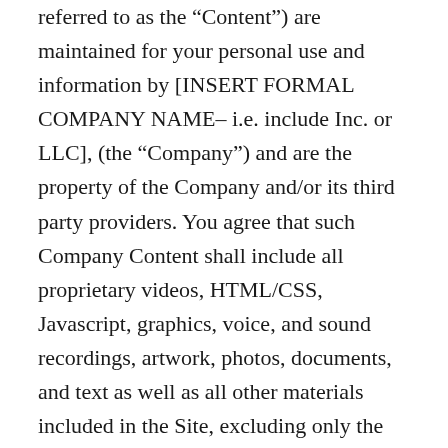referred to as the “Content”) are maintained for your personal use and information by [INSERT FORMAL COMPANY NAME– i.e. include Inc. or LLC], (the “Company”) and are the property of the Company and/or its third party providers. You agree that such Company Content shall include all proprietary videos, HTML/CSS, Javascript, graphics, voice, and sound recordings, artwork, photos, documents, and text as well as all other materials included in the Site, excluding only the materials you provide. Subject to your compliance with these Terms of Use, the Company hereby grants you a limited license, which is non-exclusive, non-transferable, and non-sublicensable, to access, view, and use the Site